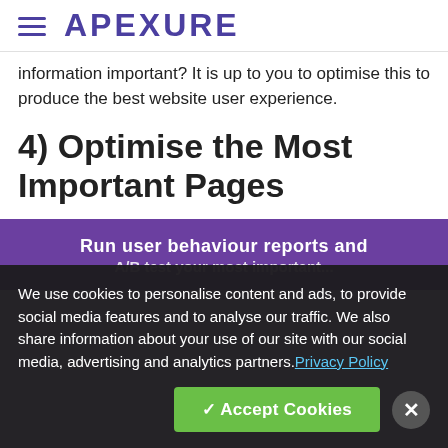APEXURE
information important? It is up to you to optimise this to produce the best website user experience.
4) Optimise the Most Important Pages
[Figure (screenshot): Purple banner with white bold text reading 'Run user behaviour reports and A/B test your most important...' — partially obscured by cookie consent overlay]
We use cookies to personalise content and ads, to provide social media features and to analyse our traffic. We also share information about your use of our site with our social media, advertising and analytics partners. Privacy Policy
✓ Accept Cookies